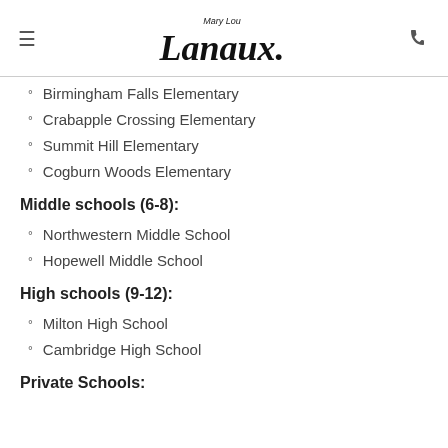Mary Lou Lanaux
Birmingham Falls Elementary
Crabapple Crossing Elementary
Summit Hill Elementary
Cogburn Woods Elementary
Middle schools (6-8):
Northwestern Middle School
Hopewell Middle School
High schools (9-12):
Milton High School
Cambridge High School
Private Schools: